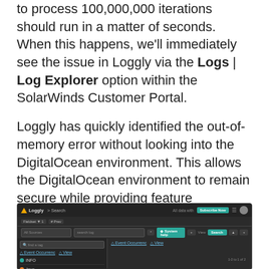to process 100,000,000 iterations should run in a matter of seconds. When this happens, we'll immediately see the issue in Loggly via the Logs | Log Explorer option within the SolarWinds Customer Portal.
Loggly has quickly identified the out-of-memory error without looking into the DigitalOcean environment. This allows the DigitalOcean environment to remain secure while providing feature developers with the necessary logging required to support their applications. In the screenshot below, we can easily view both the INFO and ERROR messages, and analyze and export them.
[Figure (screenshot): Screenshot of the Loggly Log Explorer interface showing the Loggly > Search page with a dark theme, search bar, filter options, Subscribe Now button, and sidebar with INFO and java log entries.]